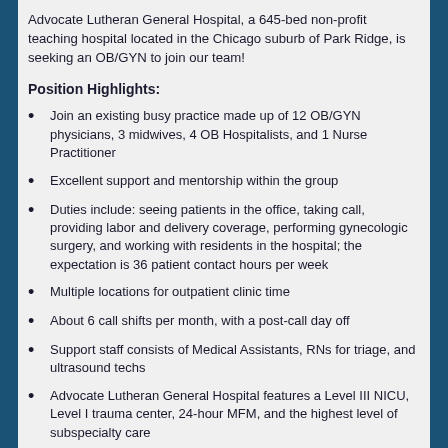Advocate Lutheran General Hospital, a 645-bed non-profit teaching hospital located in the Chicago suburb of Park Ridge, is seeking an OB/GYN to join our team!
Position Highlights:
Join an existing busy practice made up of 12 OB/GYN physicians, 3 midwives, 4 OB Hospitalists, and 1 Nurse Practitioner
Excellent support and mentorship within the group
Duties include: seeing patients in the office, taking call, providing labor and delivery coverage, performing gynecologic surgery, and working with residents in the hospital; the expectation is 36 patient contact hours per week
Multiple locations for outpatient clinic time
About 6 call shifts per month, with a post-call day off
Support staff consists of Medical Assistants, RNs for triage, and ultrasound techs
Advocate Lutheran General Hospital features a Level III NICU, Level I trauma center, 24-hour MFM, and the highest level of subspecialty care